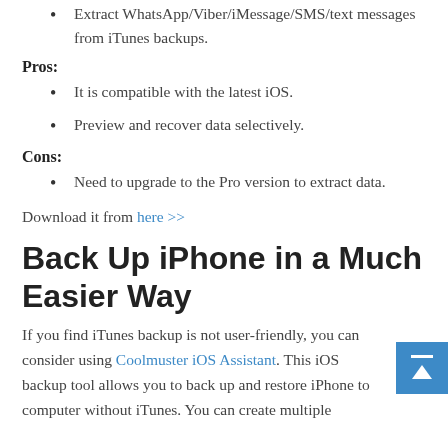Extract WhatsApp/Viber/iMessage/SMS/text messages from iTunes backups.
Pros:
It is compatible with the latest iOS.
Preview and recover data selectively.
Cons:
Need to upgrade to the Pro version to extract data.
Download it from here >>
Back Up iPhone in a Much Easier Way
If you find iTunes backup is not user-friendly, you can consider using Coolmuster iOS Assistant. This iOS backup tool allows you to back up and restore iPhone to computer without iTunes. You can create multiple